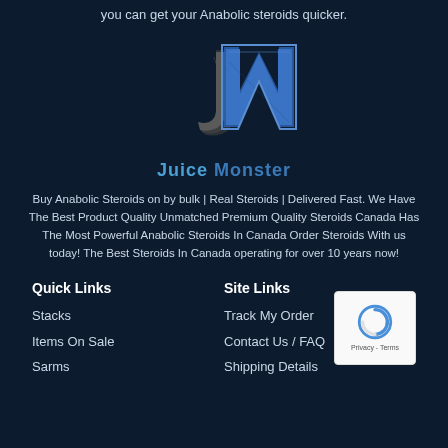you can get your Anabolic steroids quicker.
[Figure (logo): JM Juice Monster logo with stylized J in dark grey and M in blue, with 'Juice Monster' text below]
Buy Anabolic Steroids on by bulk | Real Steroids | Delivered Fast. We Have The Best Product Quality Unmatched Premium Quality Steroids Canada Has The Most Powerful Anabolic Steroids In Canada Order Steroids With us today! The Best Steroids In Canada operating for over 10 years now!
Quick Links
Site Links
Stacks
Items On Sale
Sarms
Track My Order
Contact Us / FAQ
Shipping Details